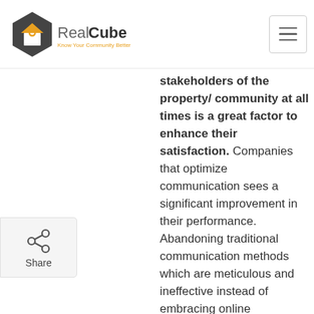RealCube - Know Your Community Better
everchanging needs of today's consumers, giving them the option of being connected with all stakeholders of the property/ community at all times is a great factor to enhance their satisfaction. Companies that optimize communication sees a significant improvement in their performance. Abandoning traditional communication methods which are meticulous and ineffective instead of embracing online communication methods which can be accessed anywhere leads to efficient communication between owners, management, and fellow residents. With advanced communication features